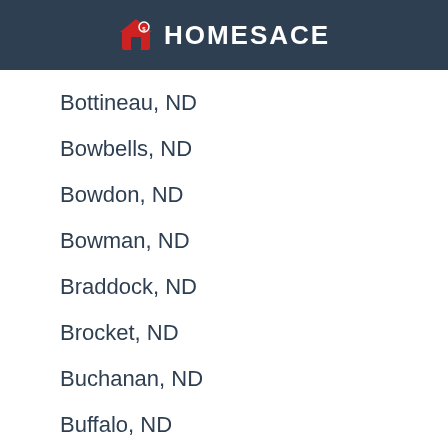[Figure (logo): Homesace logo with red house icon and white text on dark navy background header]
Bottineau, ND
Bowbells, ND
Bowdon, ND
Bowman, ND
Braddock, ND
Brocket, ND
Buchanan, ND
Buffalo, ND